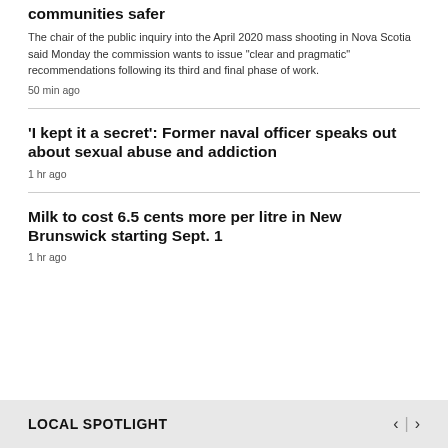communities safer
The chair of the public inquiry into the April 2020 mass shooting in Nova Scotia said Monday the commission wants to issue "clear and pragmatic" recommendations following its third and final phase of work.
50 min ago
'I kept it a secret': Former naval officer speaks out about sexual abuse and addiction
1 hr ago
Milk to cost 6.5 cents more per litre in New Brunswick starting Sept. 1
1 hr ago
LOCAL SPOTLIGHT